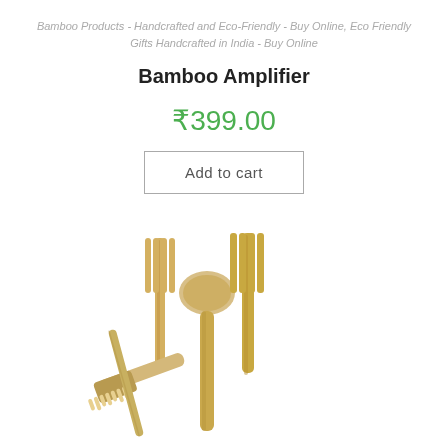Bamboo Products - Handcrafted and Eco-Friendly - Buy Online, Eco Friendly Gifts Handcrafted in India - Buy Online
Bamboo Amplifier
₹399.00
Add to cart
[Figure (photo): Bamboo kitchen utensils including a spoon and two forks arranged together, photographed from above on a white background]